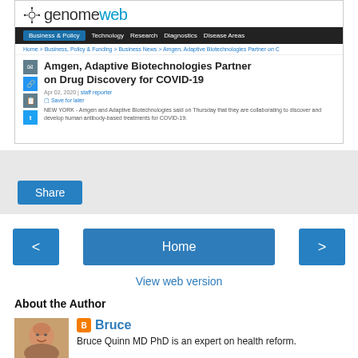[Figure (screenshot): GenomeWeb website screenshot showing article: 'Amgen, Adaptive Biotechnologies Partner on Drug Discovery for COVID-19', Apr 02, 2020, with navigation bar showing Business & Policy, Technology, Research, Diagnostics, Disease Areas, and article snippet about Amgen and Adaptive Biotechnologies collaborating on human antibody-based treatments for COVID-19.]
Share
‹
Home
›
View web version
About the Author
[Figure (photo): Headshot photo of Bruce Quinn MD PhD, a bald older man smiling.]
Bruce
Bruce Quinn MD PhD is an expert on health reform.